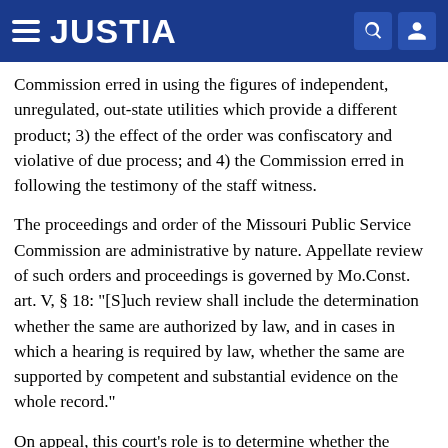JUSTIA
Commission erred in using the figures of independent, unregulated, out-state utilities which provide a different product; 3) the effect of the order was confiscatory and violative of due process; and 4) the Commission erred in following the testimony of the staff witness.
The proceedings and order of the Missouri Public Service Commission are administrative by nature. Appellate review of such orders and proceedings is governed by Mo.Const. art. V, § 18: "[S]uch review shall include the determination whether the same are authorized by law, and in cases in which a hearing is required by law, whether the same are supported by competent and substantial evidence on the whole record."
On appeal, this court's role is to determine whether the Commission's report and order are lawful and...